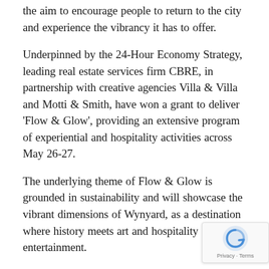the aim to encourage people to return to the city and experience the vibrancy it has to offer.
Underpinned by the 24-Hour Economy Strategy, leading real estate services firm CBRE, in partnership with creative agencies Villa & Villa and Motti & Smith, have won a grant to deliver 'Flow & Glow', providing an extensive program of experiential and hospitality activities across May 26-27.
The underlying theme of Flow & Glow is grounded in sustainability and will showcase the vibrant dimensions of Wynyard, as a destination where history meets art and hospitality meets entertainment.
The soon to be unveiled program of activities will include, by day, inspirational content programm… TEDxSydney, an artists' market and instaworthy installations. By night, people can visit the